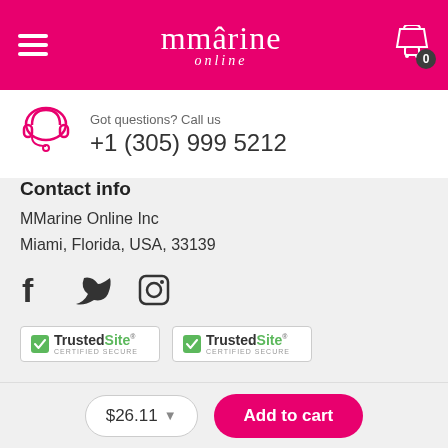mmarine online — navigation header with cart
Got questions? Call us
+1 (305) 999 5212
Contact info
MMarine Online Inc
Miami, Florida, USA, 33139
[Figure (infographic): Social media icons: Facebook, Twitter, Instagram]
[Figure (infographic): Two TrustedSite CERTIFIED SECURE badges]
[Figure (infographic): Download on the App Store button (partially visible)]
$26.11  Add to cart